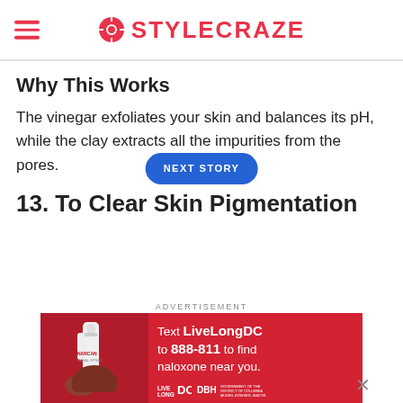STYLECRAZE
Why This Works
The vinegar exfoliates your skin and balances its pH, while the clay extracts all the impurities from the pores.
13. To Clear Skin Pigmentation
[Figure (screenshot): Advertisement banner: Text LiveLongDC to 888-811 to find naloxone near you. Live Long DC, DBH, Government of the District of Columbia, Muriel Bowser Mayor. Red background with hand holding nasal spray.]